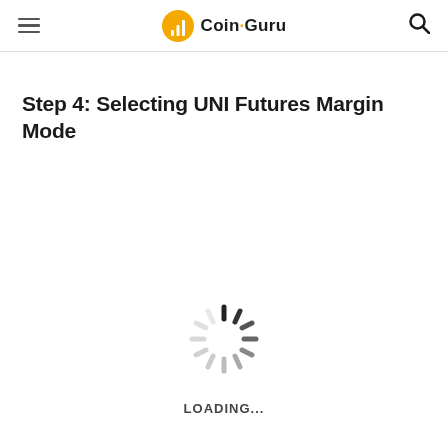Coin-Guru
Step 4: Selecting UNI Futures Margin Mode
[Figure (other): Loading spinner animation with LOADING... text below]